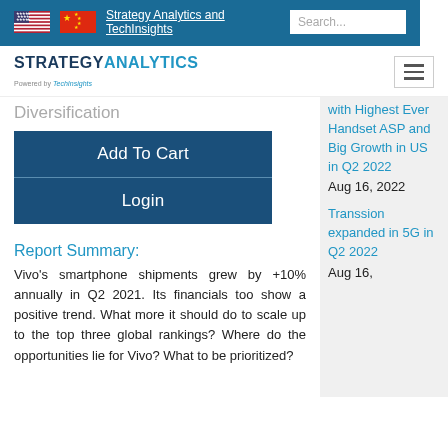Strategy Analytics and TechInsights | Search...
[Figure (logo): Strategy Analytics powered by TechInsights logo with hamburger menu icon]
Diversification
Add To Cart
Login
Report Summary:
Vivo’s smartphone shipments grew by +10% annually in Q2 2021. Its financials too show a positive trend. What more it should do to scale up to the top three global rankings? Where do the opportunities lie for Vivo? What to be prioritized?
with Highest Ever Handset ASP and Big Growth in US in Q2 2022
Aug 16, 2022
Transsion expanded in 5G in Q2 2022
Aug 16,